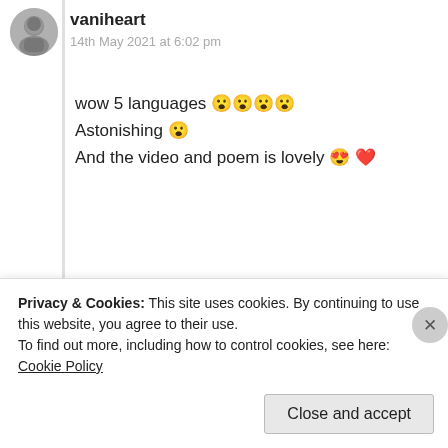[Figure (photo): Circular avatar photo of user vaniheart, black and white portrait of a person]
vaniheart
14th May 2021 at 6:02 pm
wow 5 languages 😮😮😮😮
Astonishing 😮
And the video and poem is lovely 😍 ❤️
★ Liked by 1 person
Log in to Reply
Privacy & Cookies: This site uses cookies. By continuing to use this website, you agree to their use.
To find out more, including how to control cookies, see here: Cookie Policy
Close and accept